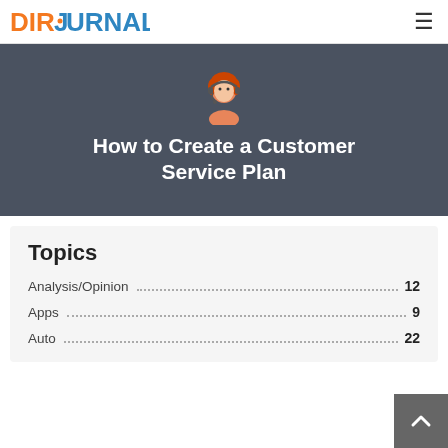DIRJOURNAL
[Figure (screenshot): Hero banner with dark grey background, customer service representative icon (woman with red hair and headset), and white bold title text 'How to Create a Customer Service Plan']
Topics
Analysis/Opinion  12
Apps  9
Auto  22